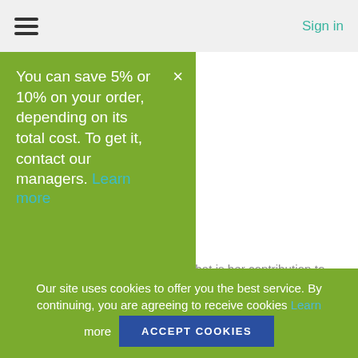☰   Sign in
You can save 5% or 10% on your order, depending on its total cost. To get it, contact our managers. Learn more
...heory of Caring Essay
Who may be Jean Watson and what is her contribution to the medical profession? Jean Watson is known as a Distinguished Teacher of Nursing and...
Our site uses cookies to offer you the best service. By continuing, you are agreeing to receive cookies Learn more  Accept Cookies